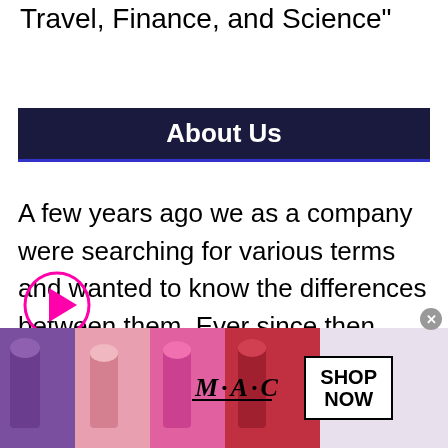Travel, Finance, and Science"
About Us
A few years ago we as a company were searching for various terms and wanted to know the differences between them. Ever since then, we've been tearing up the trails and immersing ourselves in this wonderful
[Figure (other): Play button icon - circular pink/magenta outlined circle with a solid triangle play arrow inside]
[Figure (photo): Advertisement banner for MAC cosmetics showing lipsticks in purple, pink and red colors with MAC logo text and a SHOP NOW button]